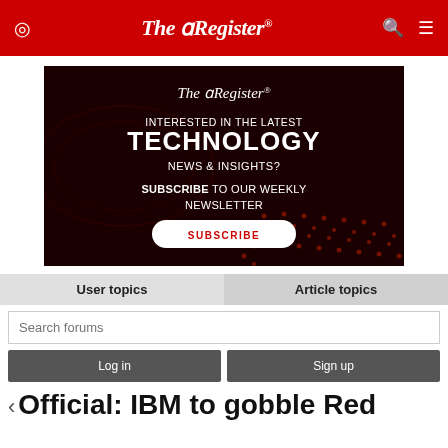The Register
[Figure (illustration): The Register newsletter subscription advertisement banner with dark red background showing circuit board texture, The Register logo at top, text 'INTERESTED IN THE LATEST TECHNOLOGY NEWS & INSIGHTS? SUBSCRIBE TO OUR WEEKLY NEWSLETTER' and a white Subscribe button with red text]
User topics
Article topics
Search forums
Log in   Sign up
Official: IBM to gobble Red